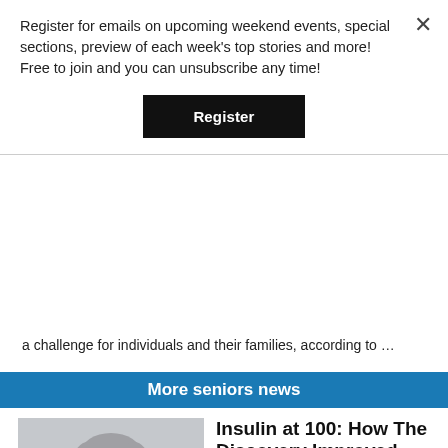Register for emails on upcoming weekend events, special sections, preview of each week's top stories and more! Free to join and you can unsubscribe any time!
Register
a challenge for individuals and their families, according to …
More seniors news
[Figure (photo): Elderly woman injecting insulin into her arm]
Insulin at 100: How The Discovery Improved Lives
(NAPSI)—The discovery of insulin 100 years ago led to many research and clinical advances that have greatly improved strategies used to help people manage diabetes to live longer and healthier…